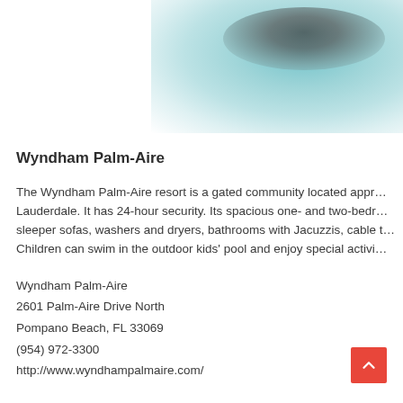[Figure (photo): Blurred teal/aqua colored photo of an outdoor pool or water feature at Wyndham Palm-Aire resort, partially visible in the top-right area of the page]
Wyndham Palm-Aire
The Wyndham Palm-Aire resort is a gated community located appr... Lauderdale. It has 24-hour security. Its spacious one- and two-bedr... sleeper sofas, washers and dryers, bathrooms with Jacuzzis, cable t... Children can swim in the outdoor kids' pool and enjoy special activi...
Wyndham Palm-Aire
2601 Palm-Aire Drive North
Pompano Beach, FL 33069
(954) 972-3300
http://www.wyndhampalmaire.com/